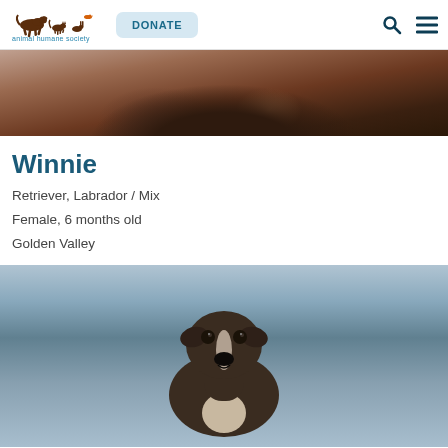Animal Humane Society — DONATE
[Figure (photo): Partial view of a brown/chocolate Labrador dog from behind/side against a grey-white background]
Winnie
Retriever, Labrador / Mix
Female, 6 months old
Golden Valley
[Figure (photo): Close-up portrait of a grey/dark brindle pit bull type dog with white markings, looking at camera against a blue-grey background]